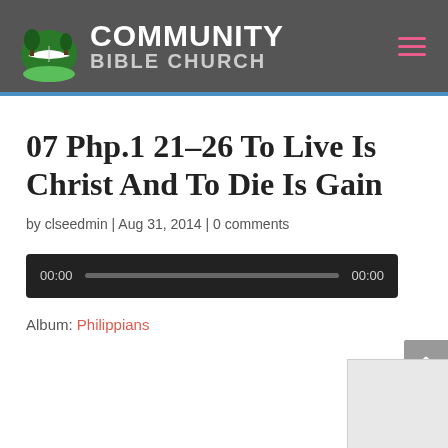[Figure (logo): Community Bible Church logo with green book/arch icon and white text]
07 Php.1 21-26 To Live Is Christ And To Die Is Gain
by clseedmin | Aug 31, 2014 | 0 comments
[Figure (screenshot): Audio player showing 00:00 time on both ends with a progress bar]
Album: Philippians